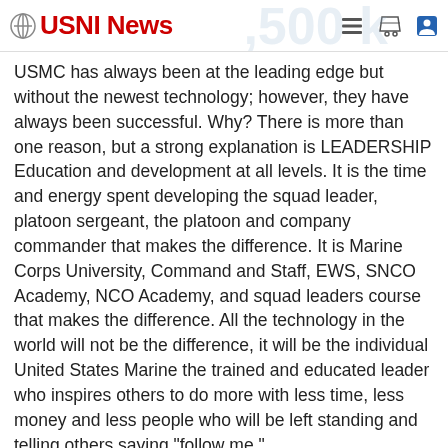USNI News
USMC has always been at the leading edge but without the newest technology; however, they have always been successful. Why? There is more than one reason, but a strong explanation is LEADERSHIP Education and development at all levels. It is the time and energy spent developing the squad leader, platoon sergeant, the platoon and company commander that makes the difference. It is Marine Corps University, Command and Staff, EWS, SNCO Academy, NCO Academy, and squad leaders course that makes the difference. All the technology in the world will not be the difference, it will be the individual United States Marine the trained and educated leader who inspires others to do more with less time, less money and less people who will be left standing and telling others saying "follow me."
Reply
outsidethebox → Ken Morris
6 years ago
Agreed, so when is the Marine Corps going to start training for conflicts that involve coastal, connected, crowded urban